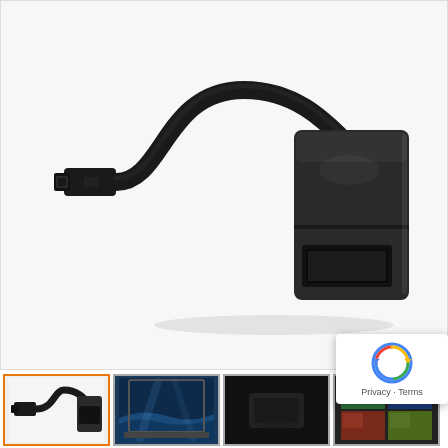[Figure (photo): A black Micro USB to HDMI adapter/cable. The left end has a Micro USB male connector attached to a short black cable, which connects to a rectangular black HDMI female adapter housing on the right side. The HDMI female port is visible on the front face of the adapter body.]
[Figure (photo): Thumbnail 1: Close-up view of the same Micro USB to HDMI adapter cable from a slightly different angle, showing the cable and adapter on a white background.]
[Figure (photo): Thumbnail 2: A laptop or TV screen displaying a blue ocean/wave scene, likely demonstrating HDMI video output.]
[Figure (photo): Thumbnail 3: A dark/black background with a device partially visible, likely showing the adapter in use.]
[Figure (photo): Thumbnail 4: A collage or grid of colorful images/photos displayed on a screen, showing media playback capability.]
Privacy · Terms